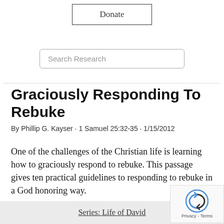Donate
Search Research
Graciously Responding To Rebuke
By Phillip G. Kayser · 1 Samuel 25:32-35 · 1/15/2012
One of the challenges of the Christian life is learning how to graciously respond to rebuke. This passage gives ten practical guidelines to responding to rebuke in a God honoring way.
Series: Life of David